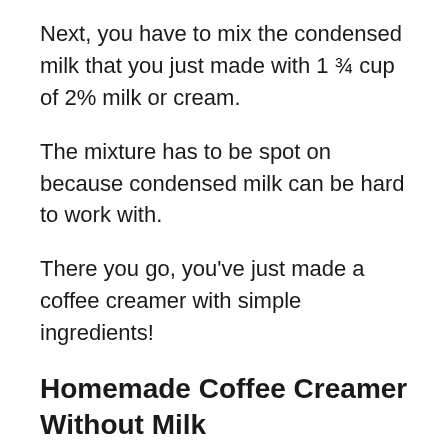Next, you have to mix the condensed milk that you just made with 1 ¾ cup of 2% milk or cream.
The mixture has to be spot on because condensed milk can be hard to work with.
There you go, you've just made a coffee creamer with simple ingredients!
Homemade Coffee Creamer Without Milk
You can make coffee creamers without milk at home with a few simple steps.